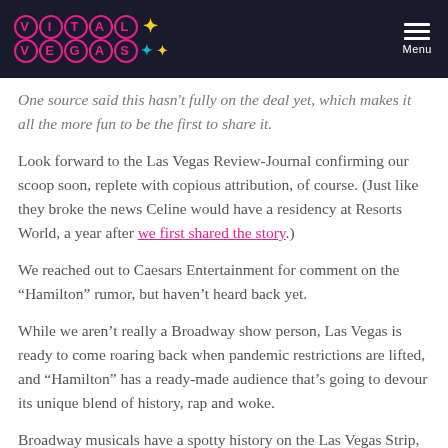VITAL VEGAS [logo with menu]
One source said this hasn't fully on the deal yet, which makes it all the more fun to be the first to share it.
Look forward to the Las Vegas Review-Journal confirming our scoop soon, replete with copious attribution, of course. (Just like they broke the news Celine would have a residency at Resorts World, a year after we first shared the story.)
We reached out to Caesars Entertainment for comment on the “Hamilton” rumor, but haven’t heard back yet.
While we aren’t really a Broadway show person, Las Vegas is ready to come roaring back when pandemic restrictions are lifted, and “Hamilton” has a ready-made audience that’s going to devour its unique blend of history, rap and woke.
Broadway musicals have a spotty history on the Las Vegas Strip, but this feels like a winner for the Las Vegas casino that’s rumored to have landed the deal.